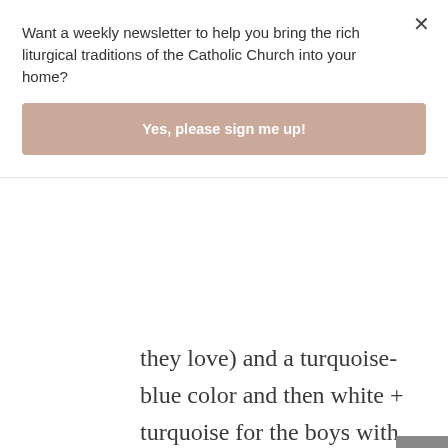Want a weekly newsletter to help you bring the rich liturgical traditions of the Catholic Church into your home?
Yes, please sign me up!
they love) and a turquoise-blue color and then white + turquoise for the boys with black/gray pants/skirts. I'm loving it and my 7 and 4 year olds are totally on board and working the system well (they wear each outfit Mon/Tues and then Wed/Thurs, then free dress on Friday but